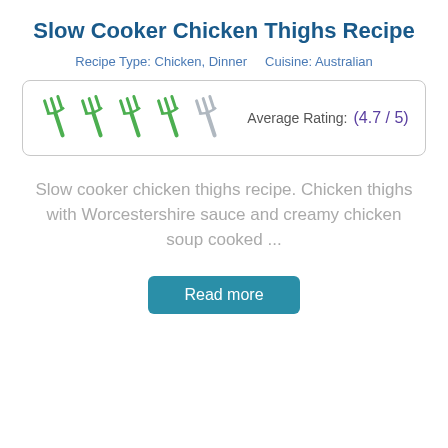Slow Cooker Chicken Thighs Recipe
Recipe Type: Chicken, Dinner    Cuisine: Australian
[Figure (infographic): Rating widget showing 4 green forks and 1 grey fork, with text 'Average Rating: (4.7 / 5)']
Slow cooker chicken thighs recipe. Chicken thighs with Worcestershire sauce and creamy chicken soup cooked ...
Read more